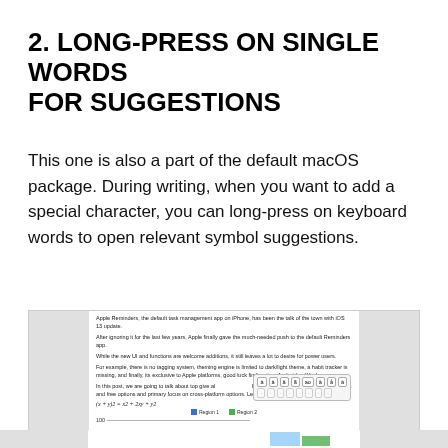2. LONG-PRESS ON SINGLE WORDS FOR SUGGESTIONS
This one is also a part of the default macOS package. During writing, when you want to add a special character, you can long-press on keyboard words to open relevant symbol suggestions.
[Figure (screenshot): Screenshot of a document page showing text about Apple Reminders app with iOS 13 update, and a character picker popup showing special accented characters (à, á, â, ã, ao, ä, å, ā), along with a formula and a legend showing Region 1 and Region 2, and a chart below.]